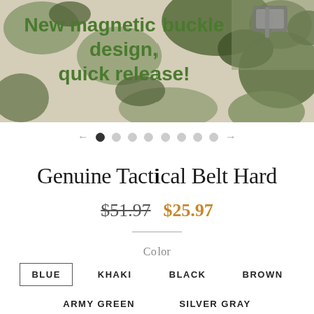[Figure (illustration): Camouflage pattern background with a belt buckle visible in the top right corner, and bold green text overlay reading 'New magnetic buckle design, quick release!']
New magnetic buckle design, quick release!
← ● ○ ○ ○ ○ ○ ○ ○ →  (carousel navigation dots)
Genuine Tactical Belt Hard
$51.97  $25.97
Color
BLUE   KHAKI   BLACK   BROWN
ARMY GREEN   SILVER GRAY